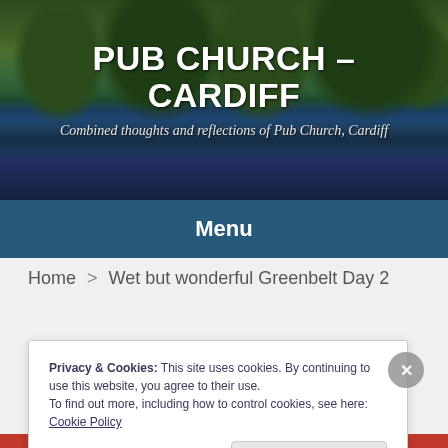[Figure (photo): Hero banner with outdoor photo showing trees and lake reflected in water, used as website header background]
PUB CHURCH – CARDIFF
Combined thoughts and reflections of Pub Church, Cardiff
Menu
Home > Wet but wonderful Greenbelt Day 2
Privacy & Cookies: This site uses cookies. By continuing to use this website, you agree to their use.
To find out more, including how to control cookies, see here: Cookie Policy
Close and accept